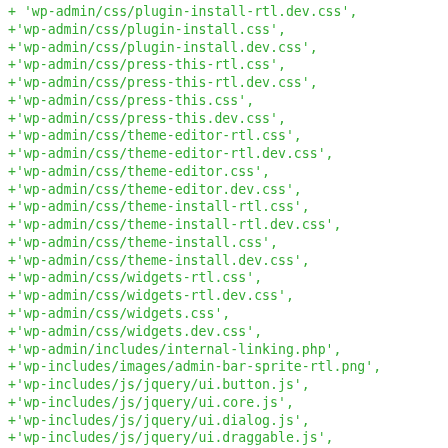+ 'wp-admin/css/plugin-install-rtl.dev.css',
+'wp-admin/css/plugin-install.css',
+'wp-admin/css/plugin-install.dev.css',
+'wp-admin/css/press-this-rtl.css',
+'wp-admin/css/press-this-rtl.dev.css',
+'wp-admin/css/press-this.css',
+'wp-admin/css/press-this.dev.css',
+'wp-admin/css/theme-editor-rtl.css',
+'wp-admin/css/theme-editor-rtl.dev.css',
+'wp-admin/css/theme-editor.css',
+'wp-admin/css/theme-editor.dev.css',
+'wp-admin/css/theme-install-rtl.css',
+'wp-admin/css/theme-install-rtl.dev.css',
+'wp-admin/css/theme-install.css',
+'wp-admin/css/theme-install.dev.css',
+'wp-admin/css/widgets-rtl.css',
+'wp-admin/css/widgets-rtl.dev.css',
+'wp-admin/css/widgets.css',
+'wp-admin/css/widgets.dev.css',
+'wp-admin/includes/internal-linking.php',
+'wp-includes/images/admin-bar-sprite-rtl.png',
+'wp-includes/js/jquery/ui.button.js',
+'wp-includes/js/jquery/ui.core.js',
+'wp-includes/js/jquery/ui.dialog.js',
+'wp-includes/js/jquery/ui.draggable.js',
+'wp-includes/js/jquery/ui.droppable.js',
+'wp-includes/js/jquery/ui.mouse.js',
+'wp-includes/js/jquery/ui.position.js',
+'wp-includes/js/jquery/ui.resizable.js',
+'wp-includes/js/jquery/ui.selectable.js',
+'wp-includes/js/jquery/ui.sortable.js',
+'wp-includes/js/jquery/ui.tabs.js',
+'wp-includes/js/jquery/ui.widget.js'